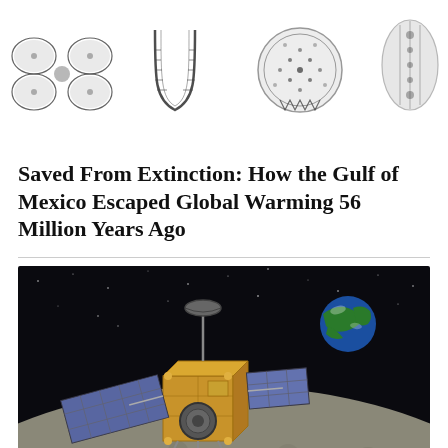[Figure (illustration): Four black-and-white scientific illustrations of marine or microscopic organisms, arranged horizontally: a bow-tie or butterfly shaped organism, a U-shaped or horseshoe-shaped structure, a rounded organism with patterned surface, and a cylindrical or elongated form.]
Saved From Extinction: How the Gulf of Mexico Escaped Global Warming 56 Million Years Ago
[Figure (photo): Color photograph/rendering of a spacecraft or lunar satellite (resembling a gold-colored cube with blue solar panels) orbiting above the Moon's surface, with Earth visible in the dark starry background.]